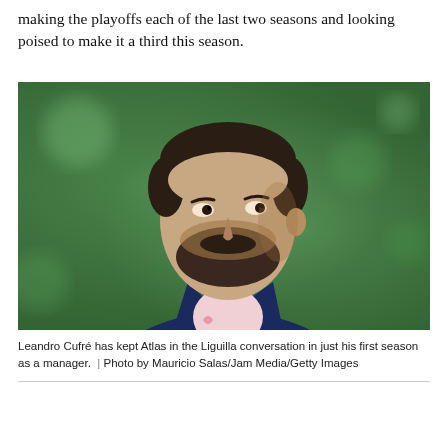making the playoffs each of the last two seasons and looking poised to make it a third this season.
[Figure (photo): Portrait photo of Leandro Cufré, a man in a dark navy blazer over a light pink shirt, with short dark hair and a beard, looking to the right against a blurred green background.]
Leandro Cufré has kept Atlas in the Liguilla conversation in just his first season as a manager.  | Photo by Mauricio Salas/Jam Media/Getty Images